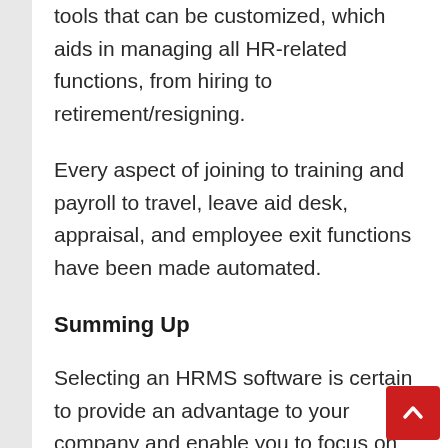tools that can be customized, which aids in managing all HR-related functions, from hiring to retirement/resigning.
Every aspect of joining to training and payroll to travel, leave aid desk, appraisal, and employee exit functions have been made automated.
Summing Up
Selecting an HRMS software is certain to provide an advantage to your company and enable you to focus on your core business functions while the Software takes care of everything else.
Start investing in HRM software today to create the best future for your company. It will also